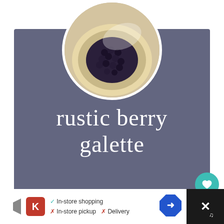[Figure (photo): Circular photo of a rustic berry galette with blueberries and pastry crust on white background]
rustic berry galette
Author: Jennifer   Prep Time: 40
Cook Time: 30
Total Time: 1 hour 10 minutes
[Figure (infographic): WHAT'S NEXT panel showing Gluten-Free Cinnamon... recipe thumbnail]
[Figure (infographic): Advertisement bar: Kroger in-store shopping, In-store pickup, Delivery]